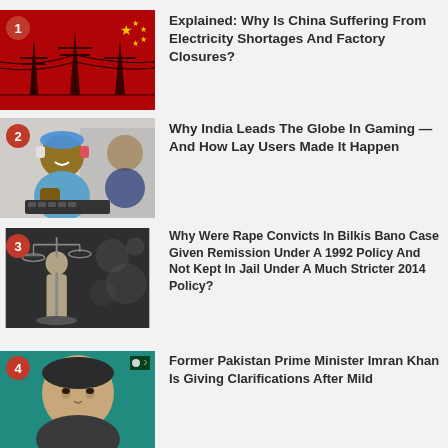1. Explained: Why Is China Suffering From Electricity Shortages And Factory Closures?
2. Why India Leads The Globe In Gaming — And How Lay Users Made It Happen
3. Why Were Rape Convicts In Bilkis Bano Case Given Remission Under A 1992 Policy And Not Kept In Jail Under A Much Stricter 2014 Policy?
4. Former Pakistan Prime Minister Imran Khan Is Giving Clarifications After Mild